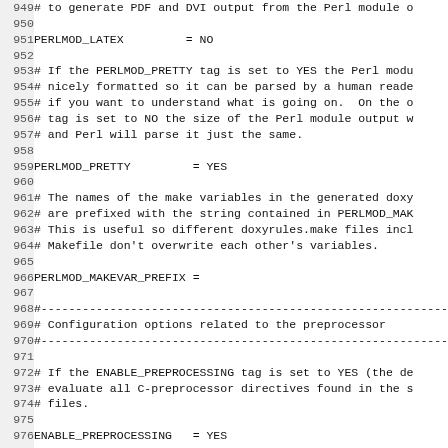949 # to generate PDF and DVI output from the Perl module o
950
951 PERLMOD_LATEX        = NO
952
953 # If the PERLMOD_PRETTY tag is set to YES the Perl modu
954 # nicely formatted so it can be parsed by a human reade
955 # if you want to understand what is going on.  On the o
956 # tag is set to NO the size of the Perl module output w
957 # and Perl will parse it just the same.
958
959 PERLMOD_PRETTY        = YES
960
961 # The names of the make variables in the generated doxy
962 # are prefixed with the string contained in PERLMOD_MAK
963 # This is useful so different doxyrules.make files incl
964 # Makefile don't overwrite each other's variables.
965
966 PERLMOD_MAKEVAR_PREFIX =
967
968 #-----------------------------------------------------------
969 # Configuration options related to the preprocessor
970 #-----------------------------------------------------------
971
972 # If the ENABLE_PREPROCESSING tag is set to YES (the de
973 # evaluate all C-preprocessor directives found in the s
974 # files.
975
976 ENABLE_PREPROCESSING   = YES
977
978 # If the MACRO_EXPANSION tag is set to YES Doxygen will
979 # names in the source code. If set to NO (the default)
980 # compilation will be performed. Macro expansion can be
981 # by setting EXPAND_ONLY_PREDEF to YES